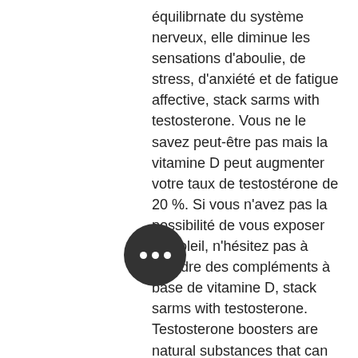équilibrnate du système nerveux, elle diminue les sensations d'aboulie, de stress, d'anxiété et de fatigue affective, stack sarms with testosterone. Vous ne le savez peut-être pas mais la vitamine D peut augmenter votre taux de testostérone de 20 %. Si vous n'avez pas la possibilité de vous exposer au soleil, n'hésitez pas à prendre des compléments à base de vitamine D, stack sarms with testosterone. Testosterone boosters are natural substances that can coax the body to produce more lutenizing hormone, a messenger hormone secreted by the pituitary gland that signals the testicles to produce more testosterone 3. In addition, testosterone boosters may unbind bound testosterone, creating more usable free testosterone 3, stack sarms with testosterone. Libido en chute libre, rapports douloureux, troubles de l'érection. Dans une vie de couple, de nombreux éléments du bien-être peuvent...